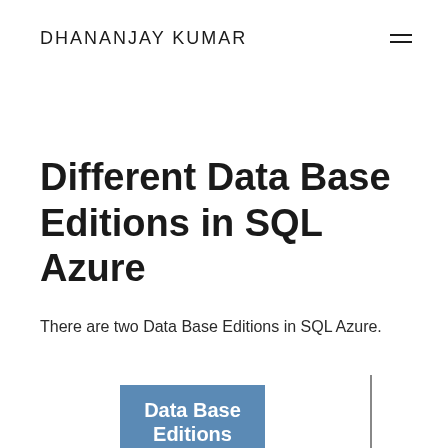DHANANJAY KUMAR
Different Data Base Editions in SQL Azure
There are two Data Base Editions in SQL Azure.
[Figure (infographic): A blue box labeled 'Data Base Editions' with a vertical line to the right, representing a diagram of Data Base Editions in SQL Azure.]